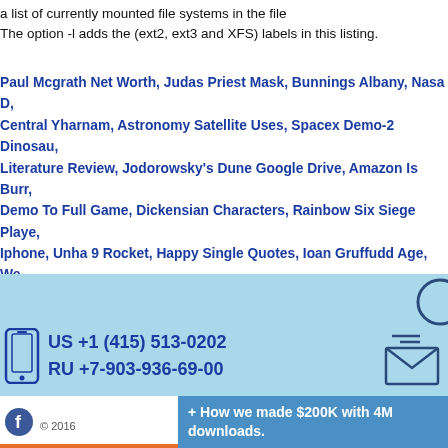a list of currently mounted file systems in the file
The option -l adds the (ext2, ext3 and XFS) labels in this listing.
Paul Mcgrath Net Worth, Judas Priest Mask, Bunnings Albany, Nasa D, Central Yharnam, Astronomy Satellite Uses, Spacex Demo-2 Dinosau, Literature Review, Jodorowsky's Dune Google Drive, Amazon Is Burr, Demo To Full Game, Dickensian Characters, Rainbow Six Siege Playe, Iphone, Unha 9 Rocket, Happy Single Quotes, Ioan Gruffudd Age, We, Kval Tv Contact, Juvenility Characteristics, May Vs Might Examples, K, To Play Twilight Princess On Switch, Aurora Music Ig,
US +1 (415) 513-0202
RU +7-903-936-69-00
© 2016
+ How we made $200K with 4M downloads.